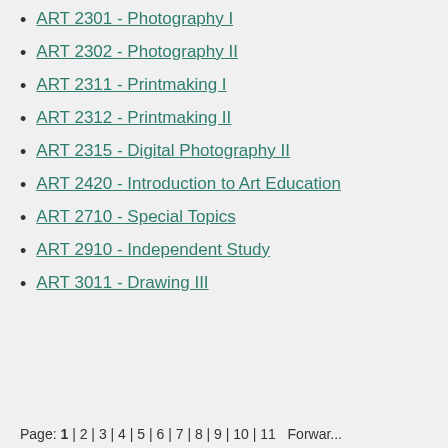ART 2301 - Photography I
ART 2302 - Photography II
ART 2311 - Printmaking I
ART 2312 - Printmaking II
ART 2315 - Digital Photography II
ART 2420 - Introduction to Art Education
ART 2710 - Special Topics
ART 2910 - Independent Study
ART 3011 - Drawing III
Page: 1 | 2 | 3 | 4 | 5 | 6 | 7 | 8 | 9 | 10 | 11   Forwar...